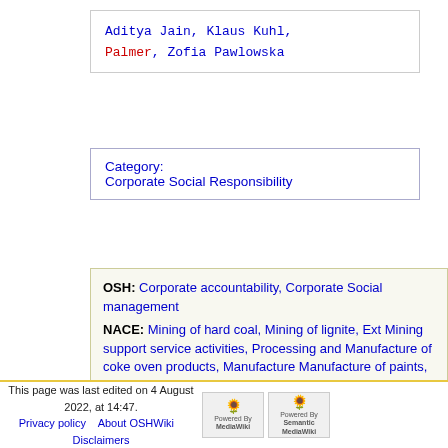Aditya Jain, Klaus Kuhl, Palmer, Zofia Pawlowska
Category: Corporate Social Responsibility
OSH: Corporate accountability, Corporate Social management
NACE: Mining of hard coal, Mining of lignite, Ext Mining support service activities, Processing and Manufacture of coke oven products, Manufacture Manufacture of paints, Manufacture of soap and Manufacture of glues, Manufacture of man-made preparations, Manufacture of rubber and plastic other transport equipment, Repair and installatio CLERKS, Civil engineering, Demolition and site passenger land transport, Freight transport by ro
This page was last edited on 4 August 2022, at 14:47.
Privacy policy
About OSHWiki
Disclaimers